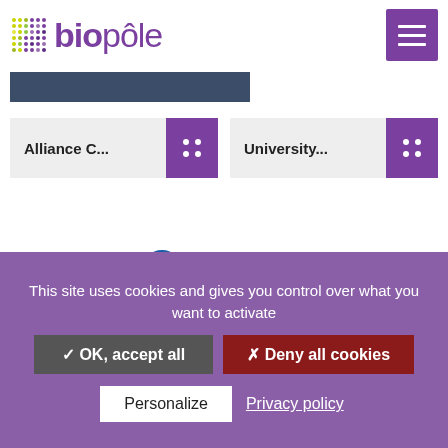[Figure (logo): Biopôle logo with grid of colored dots and purple text]
[Figure (screenshot): Dark blue banner strip partially visible at top]
Alliance C...
University...
[Figure (logo): xana logo in green italic bold text]
[Figure (logo): Mymetics logo with blue circle gear icon and blue uppercase text MYMETICS]
This site uses cookies and gives you control over what you want to activate
✓ OK, accept all
✗ Deny all cookies
Personalize
Privacy policy